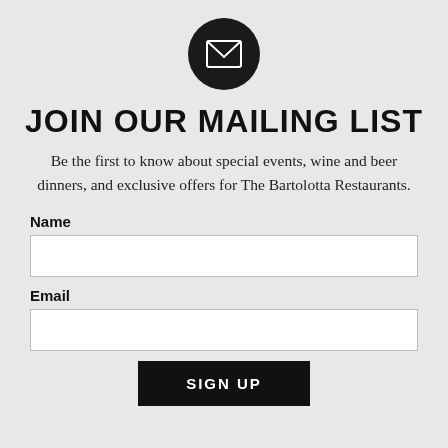[Figure (illustration): Dark circular icon with a white envelope/letter symbol in the center]
JOIN OUR MAILING LIST
Be the first to know about special events, wine and beer dinners, and exclusive offers for The Bartolotta Restaurants.
Name
Email
SIGN UP